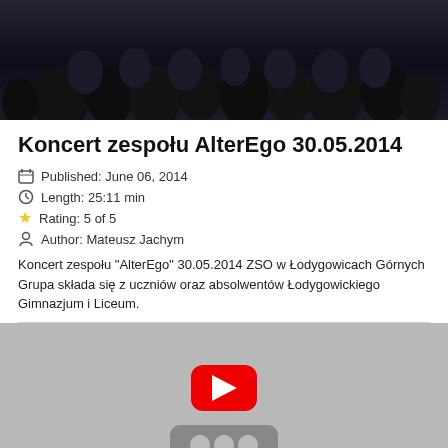[Figure (photo): Dark photo of a crowd/audience at a concert, silhouetted figures visible against a dark background]
Koncert zespołu AlterEgo 30.05.2014
Published: June 06, 2014
Length: 25:11 min
Rating: 5 of 5
Author: Mateusz Jachym
Koncert zespołu "AlterEgo" 30.05.2014 ZSO w Łodygowicach Górnych Grupa składa się z uczniów oraz absolwentów Łodygowickiego Gimnazjum i Liceum.
[Figure (screenshot): YouTube video player placeholder showing red play button and YouTube logo dots on grey background]